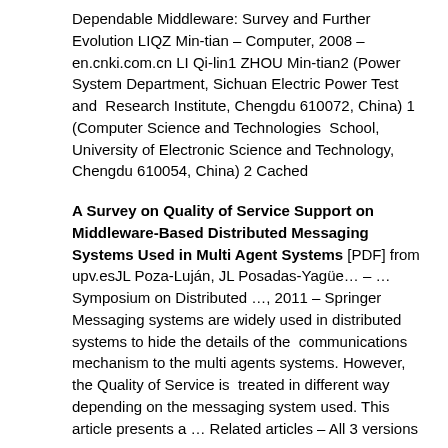Dependable Middleware: Survey and Further Evolution LIQZ Min-tian – Computer, 2008 – en.cnki.com.cn LI Qi-lin1 ZHOU Min-tian2 (Power System Department, Sichuan Electric Power Test and Research Institute, Chengdu 610072, China) 1 (Computer Science and Technologies School, University of Electronic Science and Technology, Chengdu 610054, China) 2 Cached
A Survey on Quality of Service Support on Middleware-Based Distributed Messaging Systems Used in Multi Agent Systems [PDF] from upv.esJL Poza-Luján, JL Posadas-Yagüe… – … Symposium on Distributed …, 2011 – Springer Messaging systems are widely used in distributed systems to hide the details of the communications mechanism to the multi agents systems. However, the Quality of Service is treated in different way depending on the messaging system used. This article presents a … Related articles – All 3 versions
[CITATION] An Interactive Multi-threaded Survey Application with Reliable Middleware on Handheld Devices S Gangapuram – 2003 – Kansas State University Library Search
[PDF] A Survey of Kernel-Middleware Interaction in Support of